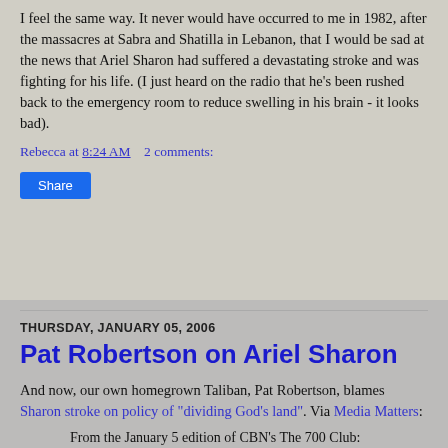I feel the same way. It never would have occurred to me in 1982, after the massacres at Sabra and Shatilla in Lebanon, that I would be sad at the news that Ariel Sharon had suffered a devastating stroke and was fighting for his life. (I just heard on the radio that he's been rushed back to the emergency room to reduce swelling in his brain - it looks bad).
Rebecca at 8:24 AM  2 comments:
Share
THURSDAY, JANUARY 05, 2006
Pat Robertson on Ariel Sharon
And now, our own homegrown Taliban, Pat Robertson, blames Sharon stroke on policy of "dividing God's land". Via Media Matters:
From the January 5 edition of CBN's The 700 Club:
ROBERTSON: I have said last year that Israel was